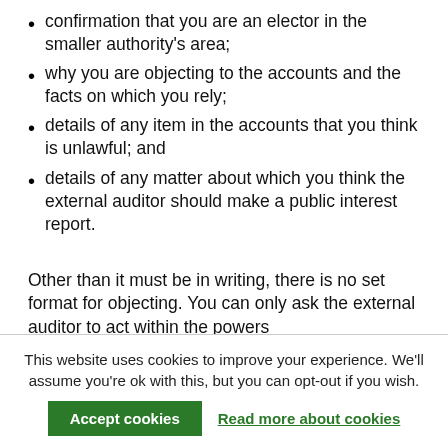confirmation that you are an elector in the smaller authority's area;
why you are objecting to the accounts and the facts on which you rely;
details of any item in the accounts that you think is unlawful; and
details of any matter about which you think the external auditor should make a public interest report.
Other than it must be in writing, there is no set format for objecting. You can only ask the external auditor to act within the powers
This website uses cookies to improve your experience. We'll assume you're ok with this, but you can opt-out if you wish.